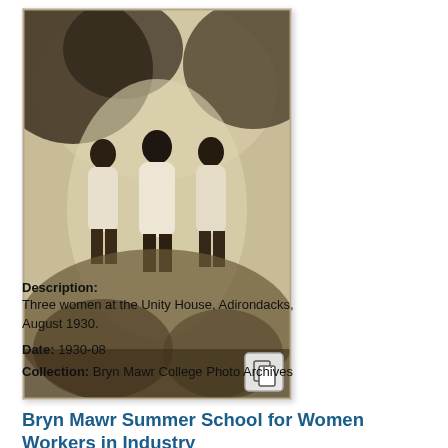[Figure (photo): Sepia-toned vintage photograph of three women standing outdoors, wearing white dresses. The background shows trees/foliage. A small copy icon appears in the bottom-right corner of the image frame.]
Bryn Mawr Summer School for Women Workers in Industry
Description: Three women at the Unity House, Adirondacks, August 1930.
Date: 1930-08
Collection: Bryn Mawr College Photo Archives